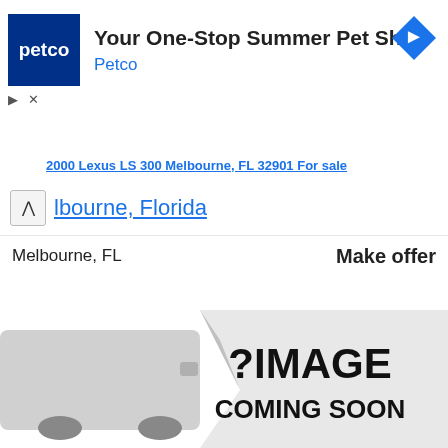[Figure (screenshot): Petco advertisement banner with navy blue Petco logo square, headline 'Your One-Stop Summer Pet Shop', brand name 'Petco' in blue, and a blue navigation diamond icon on the right. Ad control icons (play and X) are shown on the left below the logo.]
2000 Lexus LS 300 Melbourne, FL 32901 For Sale Melbourne, Florida
Melbourne, FL
Make offer
[Figure (photo): Car listing placeholder image showing a partial view of a silver/grey car on the left side and a peeling paper effect revealing '? IMAGE COMING SOON' text in bold black on a white/light grey background.]